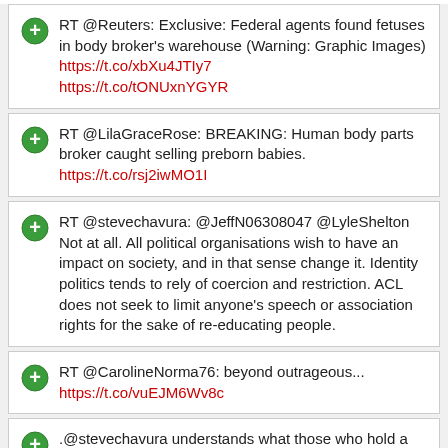RT @Reuters: Exclusive: Federal agents found fetuses in body broker's warehouse (Warning: Graphic Images) https://t.co/xbXu4JTIy7 https://t.co/tONUxnYGYR
RT @LilaGraceRose: BREAKING: Human body parts broker caught selling preborn babies. https://t.co/rsj2iwMO1I
RT @stevechavura: @JeffN06308047 @LyleShelton Not at all. All political organisations wish to have an impact on society, and in that sense change it. Identity politics tends to rely of coercion and restriction. ACL does not seek to limit anyone's speech or association rights for the sake of re-educating people.
RT @CarolineNorma76: beyond outrageous... https://t.co/vuEJM6Wv8c
.@stevechavura understands what those who hold a